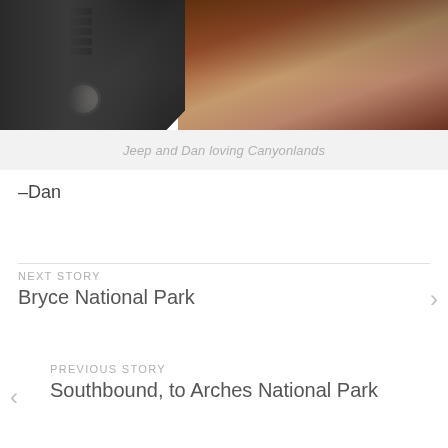[Figure (photo): A Jeep and a person named Dan at Canyonlands National Park, with red rock terrain in the background.]
Jeep and Dan loving Canyonlands
-Dan
NEXT STORY
Bryce National Park
PREVIOUS STORY
Southbound, to Arches National Park